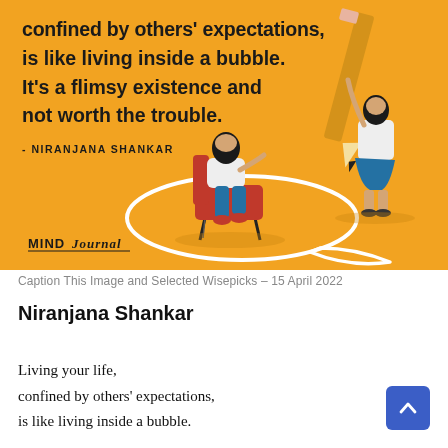[Figure (illustration): Yellow/orange background illustration. Left side shows bold black text quote: 'confined by others' expectations, is like living inside a bubble. It's a flimsy existence and not worth the trouble.' with attribution '- NIRANJANA SHANKAR'. Center shows a woman with dark hair sitting in a red chair (in a speech bubble circle drawn on the ground), and on the right a person drawing the bubble outline with a giant pencil. Bottom left has 'MIND JOURNAL' logo text with an underline.]
Caption This Image and Selected Wisepicks – 15 April 2022
Niranjana Shankar
Living your life,
confined by others' expectations,
is like living inside a bubble.